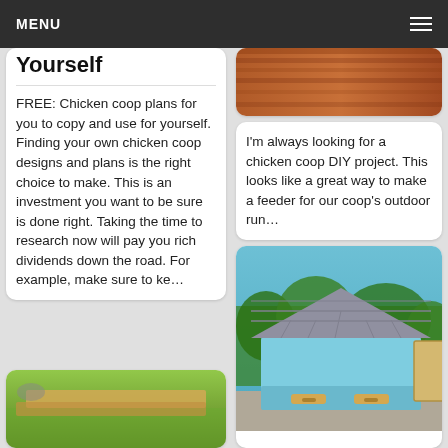MENU
Yourself
FREE: Chicken coop plans for you to copy and use for yourself. Finding your own chicken coop designs and plans is the right choice to make. This is an investment you want to be sure is done right. Taking the time to research now will pay you rich dividends down the road. For example, make sure to ke…
[Figure (photo): Wooden plank or cedar siding close-up (top of right column, partially cropped)]
I&#39;m always looking for a chicken coop DIY project. This looks like a great way to make a feeder for our coop&#39;s outdoor run…
[Figure (photo): Outdoor scene on grass with wooden/plastic construction material laid flat (bottom left)]
[Figure (photo): Light blue painted wooden chicken coop with gray shingle roof and drawer-style nesting boxes, parked on pavement near trees (bottom right)]